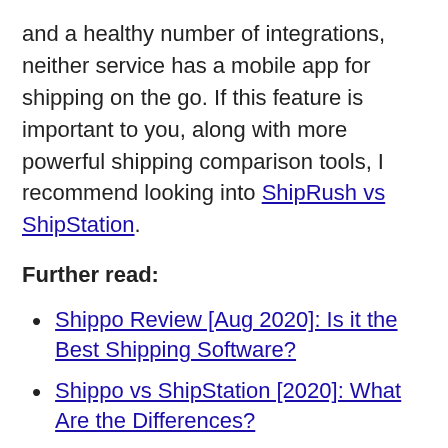and a healthy number of integrations, neither service has a mobile app for shipping on the go. If this feature is important to you, along with more powerful shipping comparison tools, I recommend looking into ShipRush vs ShipStation.
Further read:
Shippo Review [Aug 2020]: Is it the Best Shipping Software?
Shippo vs ShipStation [2020]: What Are the Differences?
Shippo vs EasyShip – Which is the Best Shipping Solution?
Best Shipping Apps for Shopify to Increase